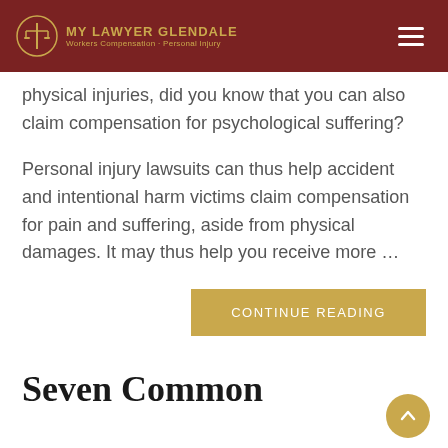MY LAWYER GLENDALE — Workers Compensation · Personal Injury
physical injuries, did you know that you can also claim compensation for psychological suffering?
Personal injury lawsuits can thus help accident and intentional harm victims claim compensation for pain and suffering, aside from physical damages. It may thus help you receive more …
CONTINUE READING
Seven Common